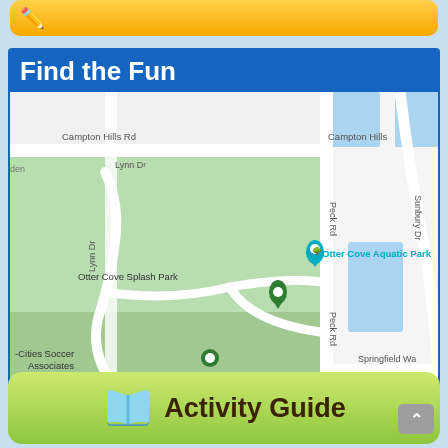[Figure (other): Orange banner at top with pencil icon]
Find the Fun
[Figure (map): Google Maps screenshot showing Otter Cove Aquatic Park, Otter Cove Splash Park, -Cities Soccer Associates, and Campton Hills Park - Fox locations near Campton Hills Rd, Lynn Dr, Peck Rd, Sunbury Dr, and Springfield Wa. Green areas indicate parks.]
[Figure (other): Green Activity Guide banner at bottom with open book icon]